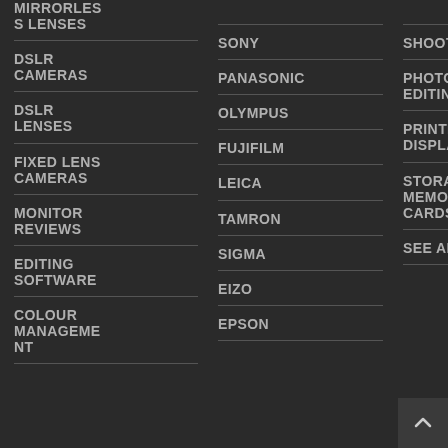MIRRORLESS LENSES
SONY
SHOOTING
PHY 3RD EDN
DSLR CAMERAS
PANASONIC
PHOTO EDITING
PHOTO PRINTING
DSLR LENSES
OLYMPUS
PRINTING & DISPLAY
LANDSCAPE PHOTOGRAPHY
FIXED LENS CAMERAS
FUJIFILM
STORAGE & MEMORY CARDS
STREET PHOTOGRAPHY
MONITOR REVIEWS
LEICA
SEE ALL
PHOTO BACKUP
EDITING SOFTWARE
TAMRON
PHOTO EDITING
COLOUR MANAGEMENT
SIGMA
LOW LIGHT PHOTOGRA
EIZO
EPSON